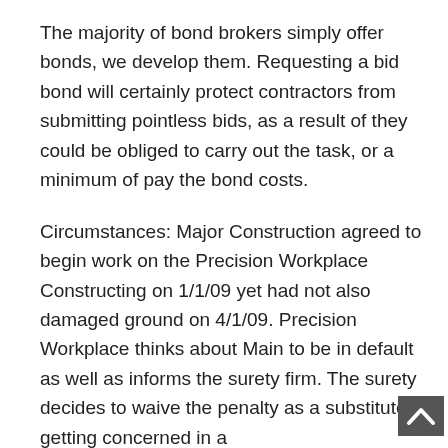The majority of bond brokers simply offer bonds, we develop them. Requesting a bid bond will certainly protect contractors from submitting pointless bids, as a result of they could be obliged to carry out the task, or a minimum of pay the bond costs.
Circumstances: Major Construction agreed to begin work on the Precision Workplace Constructing on 1/1/09 yet had not also damaged ground on 4/1/09. Precision Workplace thinks about Main to be in default as well as informs the surety firm. The surety decides to waive the penalty as a substitute of getting concerned in a